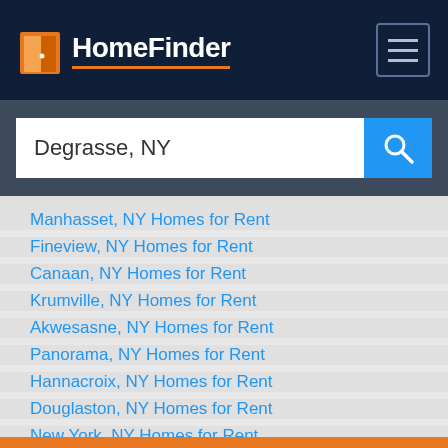HomeFinder
Degrasse, NY
Manhasset, NY Homes for Rent
Fineview, NY Homes for Rent
Canaan, NY Homes for Rent
Krumville, NY Homes for Rent
Akwesasne, NY Homes for Rent
Panorama, NY Homes for Rent
Hannacroix, NY Homes for Rent
Douglaston, NY Homes for Rent
New York, NY Homes for Rent